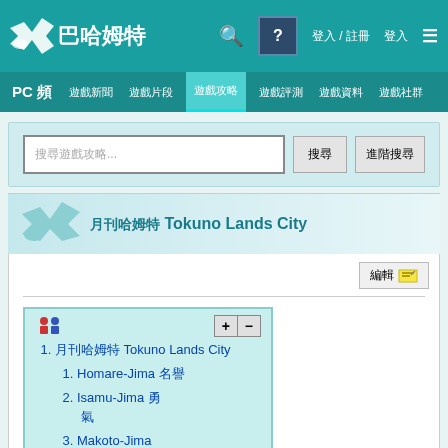巴哈姆特 PC 頻道 — top navigation bar
PC 頻 | 遊戲新聞 | 遊戲片段 | 遊戲攻略 | 遊戲評測 | 遊戲資料 | 遊戲社群
[Figure (screenshot): Search input box with 搜尋 and 進階搜尋 buttons]
月刊哈姆特 Tokuno Lands City
編輯 button
1. 月刊哈姆特 Tokuno Lands City
1. Homare-Jima 名譽
2. Isamu-Jima 勇 氣
3. Makoto-Jima